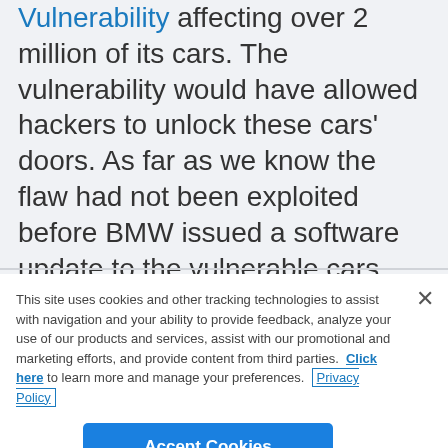Vulnerability affecting over 2 million of its cars. The vulnerability would have allowed hackers to unlock these cars' doors. As far as we know the flaw had not been exploited before BMW issued a software update to the vulnerable cars.
This site uses cookies and other tracking technologies to assist with navigation and your ability to provide feedback, analyze your use of our products and services, assist with our promotional and marketing efforts, and provide content from third parties.  Click here to learn more and manage your preferences.  Privacy Policy
Accept Cookies